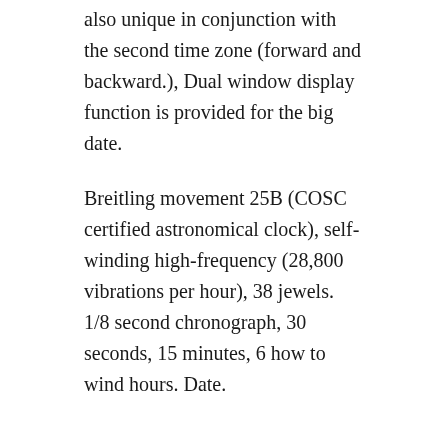also unique in conjunction with the second time zone (forward and backward.), Dual window display function is provided for the big date.
Breitling movement 25B (COSC certified astronomical clock), self-winding high-frequency (28,800 vibrations per hour), 38 jewels. 1/8 second chronograph, 30 seconds, 15 minutes, 6 how to wind hours. Date.
Replica Rolex Watches Sale
The Bvlgari Octo Tourbillon sapphire version offers a new interpretation of the octagonal